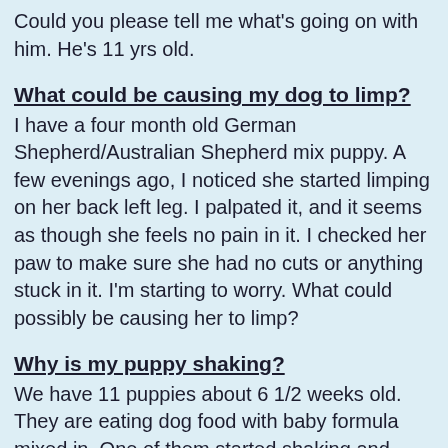Could you please tell me what's going on with him. He's 11 yrs old.
What could be causing my dog to limp?
I have a four month old German Shepherd/Australian Shepherd mix puppy. A few evenings ago, I noticed she started limping on her back left leg. I palpated it, and it seems as though she feels no pain in it. I checked her paw to make sure she had no cuts or anything stuck in it. I'm starting to worry. What could possibly be causing her to limp?
Why is my puppy shaking?
We have 11 puppies about 6 1/2 weeks old. They are eating dog food with baby formula mixed in. One of them started shaking and...